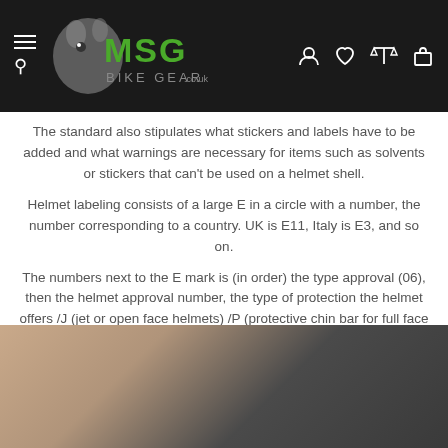MSG Bike Gear - navigation header with logo, hamburger menu, search, user, wishlist, compare, and cart icons
The standard also stipulates what stickers and labels have to be added and what warnings are necessary for items such as solvents or stickers that can't be used on a helmet shell.
Helmet labeling consists of a large E in a circle with a number, the number corresponding to a country. UK is E11, Italy is E3, and so on.
The numbers next to the E mark is (in order) the type approval (06), then the helmet approval number, the type of protection the helmet offers /J (jet or open face helmets) /P (protective chin bar for full face helmets) etc. followed by a hyphen then the production serial number.
[Figure (photo): Close-up photo of a finger touching or holding dark fabric, likely a helmet interior liner or padding material.]